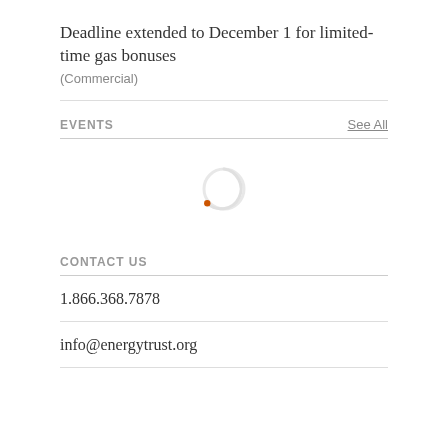Deadline extended to December 1 for limited-time gas bonuses
(Commercial)
EVENTS
See All
[Figure (other): Loading spinner animation — a partial circle outline in orange/light gray indicating content is loading]
CONTACT US
1.866.368.7878
info@energytrust.org